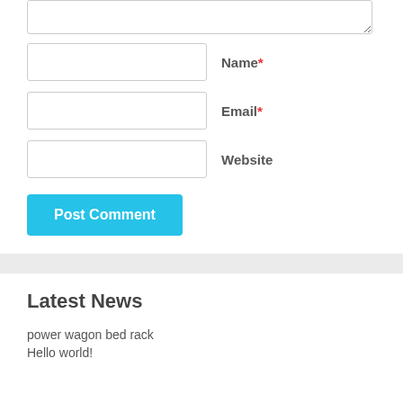[textarea input field]
Name*
Email*
Website
Post Comment
Latest News
power wagon bed rack
Hello world!